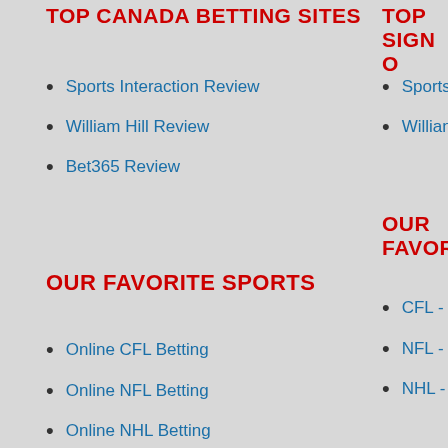TOP CANADA BETTING SITES
Sports Interaction Review
William Hill Review
Bet365 Review
TOP SIGN O…
Sports Inte…
William Hil…
OUR FAVORI…
CFL - Grey…
NFL - Supe…
NHL - Stan…
OUR FAVORITE SPORTS
Online CFL Betting
Online NFL Betting
Online NHL Betting